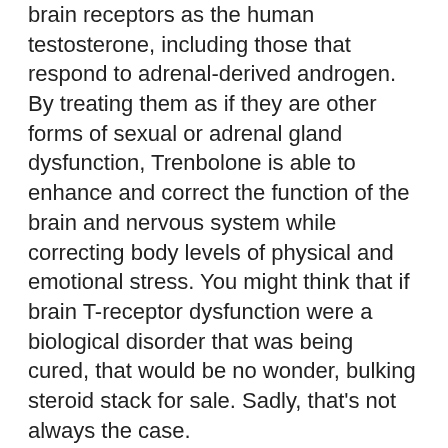brain receptors as the human testosterone, including those that respond to adrenal-derived androgen. By treating them as if they are other forms of sexual or adrenal gland dysfunction, Trenbolone is able to enhance and correct the function of the brain and nervous system while correcting body levels of physical and emotional stress. You might think that if brain T-receptor dysfunction were a biological disorder that was being cured, that would be no wonder, bulking steroid stack for sale. Sadly, that's not always the case.
The biggest reason for the longevity of Trenbolone treatment is simply its simplicity, bulking steroid cycle chart. We've developed several different formulations for treating high T, especially if the condition is not controlled in one sitting, and each of different formulations can be customized with a very narrow range of active ingredients. It's an